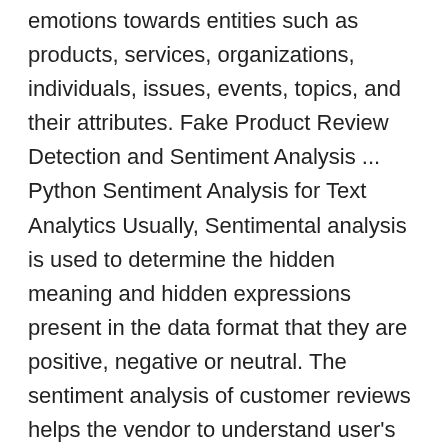emotions towards entities such as products, services, organizations, individuals, issues, events, topics, and their attributes. Fake Product Review Detection and Sentiment Analysis ... Python Sentiment Analysis for Text Analytics Usually, Sentimental analysis is used to determine the hidden meaning and hidden expressions present in the data format that they are positive, negative or neutral. The sentiment analysis of customer reviews helps the vendor to understand user's perspectives. The review comments are useful to both other buyers and vendors. Introduction. Given a movie review or a tweet, it can be automatically classified in categories. Sentiment analysis is a special case of Text Classification where users' opinion or sentiments about any product are predicted from textual data. Build a sentiment analysis program: We finally use all we learnt above to make a program that analyses sentiment of movie reviews. Now we are going to show you how to create a basic website that will use the sentiment analysis feature of the API.